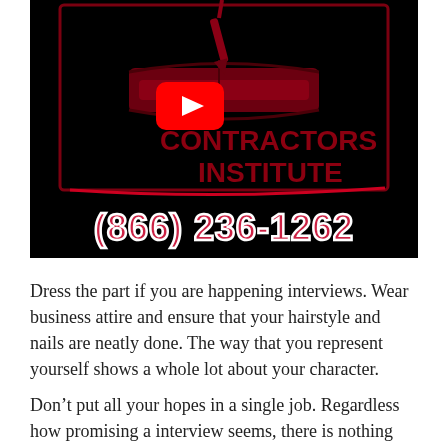[Figure (screenshot): Video thumbnail for Contractors Institute showing a dark background with a pen and book logo, the text 'CONTRACTORS INSTITUTE' in dark red, a YouTube play button overlay, and the phone number (866) 236-1262 at the bottom.]
Dress the part if you are happening interviews. Wear business attire and ensure that your hairstyle and nails are neatly done. The way that you represent yourself shows a whole lot about your character.
Don't put all your hopes in a single job. Regardless how promising a interview seems, there is nothing certain up until you are hired. Stay persistent and